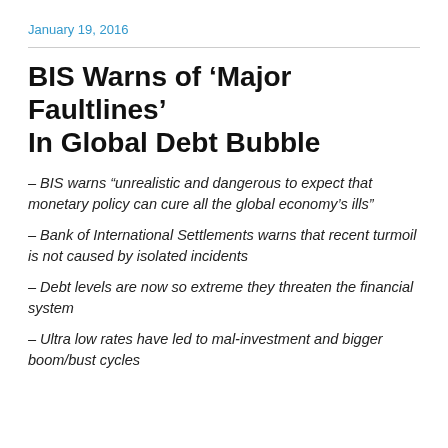January 19, 2016
BIS Warns of ‘Major Faultlines’ In Global Debt Bubble
– BIS warns “unrealistic and dangerous to expect that monetary policy can cure all the global economy’s ills”
– Bank of International Settlements warns that recent turmoil is not caused by isolated incidents
– Debt levels are now so extreme they threaten the financial system
– Ultra low rates have led to mal-investment and bigger boom/bust cycles